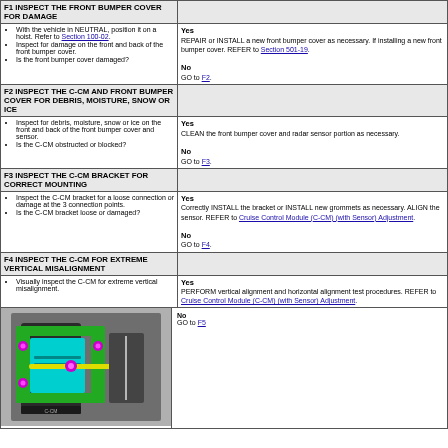| Step/Condition | Action |
| --- | --- |
| F1 INSPECT THE FRONT BUMPER COVER FOR DAMAGE |  |
| With the vehicle in NEUTRAL, position it on a hoist. Refer to Section 100-02. Inspect for damage on the front and back of the front bumper cover. Is the front bumper cover damaged? | Yes REPAIR or INSTALL a new front bumper cover as necessary. If installing a new front bumper cover. REFER to Section 501-19. No GO to F2. |
| F2 INSPECT THE C-CM AND FRONT BUMPER COVER FOR DEBRIS, MOISTURE, SNOW OR ICE |  |
| Inspect for debris, moisture, snow or ice on the front and back of the front bumper cover and sensor. Is the C-CM obstructed or blocked? | Yes CLEAN the front bumper cover and radar sensor portion as necessary. No GO to F3. |
| F3 INSPECT THE C-CM BRACKET FOR CORRECT MOUNTING |  |
| Inspect the C-CM bracket for a loose connection or damage at the 3 connection points. Is the C-CM bracket loose or damaged? | Yes Correctly INSTALL the bracket or INSTALL new grommets as necessary. ALIGN the sensor. REFER to Cruise Control Module (C-CM) (with Sensor) Adjustment. No GO to F4. |
| F4 INSPECT THE C-CM FOR EXTREME VERTICAL MISALIGNMENT |  |
| Visually inspect the C-CM for extreme vertical misalignment. | Yes PERFORM vertical alignment and horizontal alignment test procedures. REFER to Cruise Control Module (C-CM) (with Sensor) Adjustment. |
[Figure (engineering-diagram): Diagram of C-CM (Cruise Control Module) bracket assembly showing mounting components in green, blue/cyan, magenta and yellow against a dark background of vehicle interior]
No GO to F5